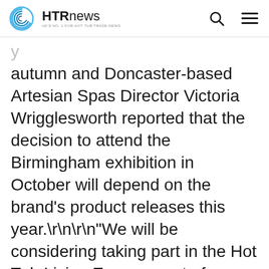HTR News — UK's No.1 for Hot Tub Trade News
autumn and Doncaster-based Artesian Spas Director Victoria Wrigglesworth reported that the decision to attend the Birmingham exhibition in October will depend on the brand's product releases this year.\r\n\r\n"We will be considering taking part in the Hot Tub Living Expo as part of our other exhibition plans," said Artesian Spas Director Victoria Wrigglesworth\r\n\r\n "At the moment